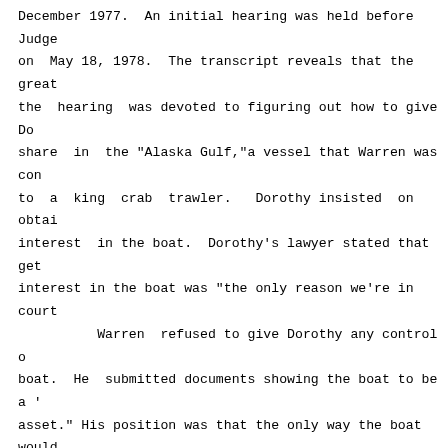December 1977.  An initial hearing was held before Judge on May 18, 1978.  The transcript reveals that the great the hearing was devoted to figuring out how to give Do share in the "Alaska Gulf,"a vessel that Warren was con to a king crab trawler.  Dorothy insisted on obtai interest in the boat.  Dorothy's lawyer stated that get interest in the boat was "the only reason we're in court
          Warren refused to give Dorothy any control o boat.  He submitted documents showing the boat to be a ' asset." His position was that the only way the boat would a  "positive asset"  was  through  his  own  work.   He resolution of the issue because he needed to raise money boat's conversion, and the divorce had his "credit blocke
          Judge Buckalew wrestled with how to div property:  "I don't want to make an indentured servant